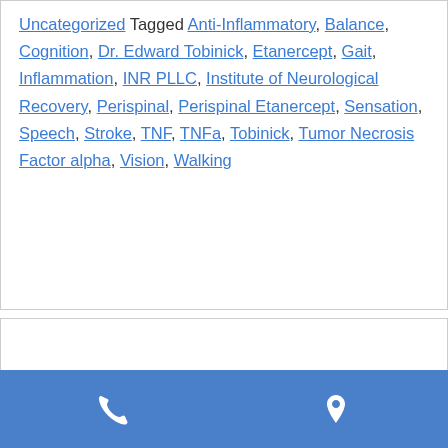Uncategorized Tagged Anti-Inflammatory, Balance, Cognition, Dr. Edward Tobinick, Etanercept, Gait, Inflammation, INR PLLC, Institute of Neurological Recovery, Perispinal, Perispinal Etanercept, Sensation, Speech, Stroke, TNF, TNFa, Tobinick, Tumor Necrosis Factor alpha, Vision, Walking
New Neuroinflammation
[Figure (other): Footer bar with phone icon on left and location pin icon on right, blue background]